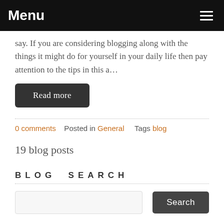Menu
say. If you are considering blogging along with the things it might do for yourself in your daily life then pay attention to the tips in this a…
Read more
0 comments   Posted in General   Tags blog
19 blog posts
BLOG SEARCH